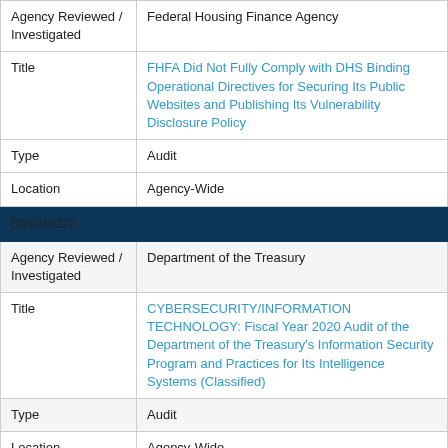| Agency Reviewed / Investigated | Federal Housing Finance Agency |
| Title | FHFA Did Not Fully Comply with DHS Binding Operational Directives for Securing Its Public Websites and Publishing Its Vulnerability Disclosure Policy |
| Type | Audit |
| Location | Agency-Wide |
| 09/01/2022 |  |
| Agency Reviewed / Investigated | Department of the Treasury |
| Title | CYBERSECURITY/INFORMATION TECHNOLOGY: Fiscal Year 2020 Audit of the Department of the Treasury's Information Security Program and Practices for Its Intelligence Systems (Classified) |
| Type | Audit |
| Location | Agency-Wide |
| 08/31/2022 |  |
| Agency... |  |